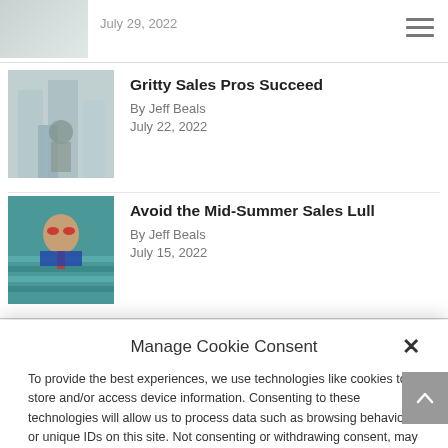[Figure (screenshot): Partial article thumbnail and date visible at top of page, cut off]
[Figure (screenshot): Hamburger menu icon in top-right navigation bar]
[Figure (photo): Article thumbnail for Gritty Sales Pros Succeed showing man in suit in front of buildings]
Gritty Sales Pros Succeed
By Jeff Beals
July 22, 2022
[Figure (photo): Article thumbnail for Avoid the Mid-Summer Sales Lull showing person with sunglasses relaxing]
Avoid the Mid-Summer Sales Lull
By Jeff Beals
July 15, 2022
Manage Cookie Consent
To provide the best experiences, we use technologies like cookies to store and/or access device information. Consenting to these technologies will allow us to process data such as browsing behavior or unique IDs on this site. Not consenting or withdrawing consent, may adversely affect certain features and functions.
Accept
Cookie Policy  Privacy Statement